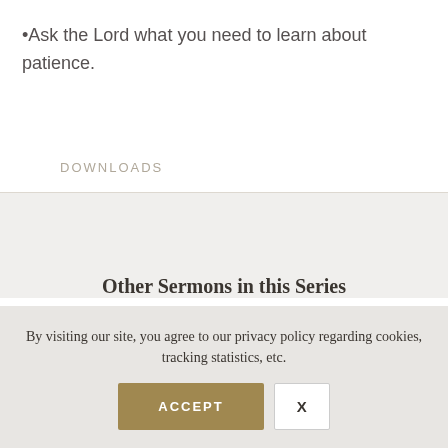•Ask the Lord what you need to learn about patience.
DOWNLOADS
Other Sermons in this Series
By visiting our site, you agree to our privacy policy regarding cookies, tracking statistics, etc.